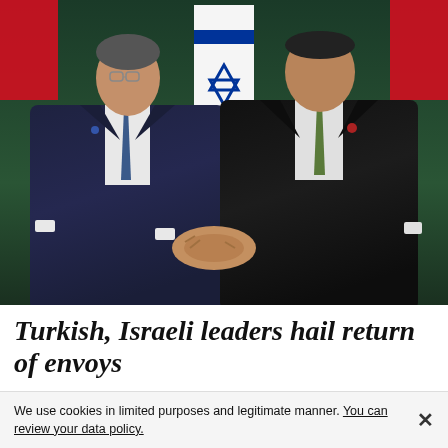[Figure (photo): Two men in suits shaking hands in front of an Israeli flag (Star of David visible) and Turkish flags (red). The man on the left wears a dark navy suit with a blue tie; the man on the right wears a dark suit with a green tie. Background is a dark green ceremonial room.]
Turkish, Israeli leaders hail return of envoys
We use cookies in limited purposes and legitimate manner. You can review your data policy.